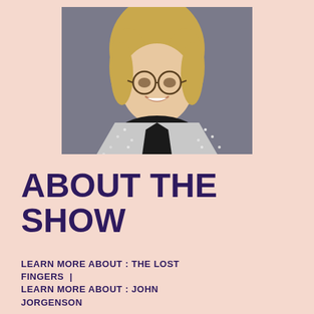[Figure (photo): Headshot of a man with long blonde hair, round glasses, smiling, wearing a sparkly silver jacket over a black shirt, against a grey background]
ABOUT THE SHOW
LEARN MORE ABOUT : THE LOST FINGERS  |
LEARN MORE ABOUT : JOHN JORGENSON